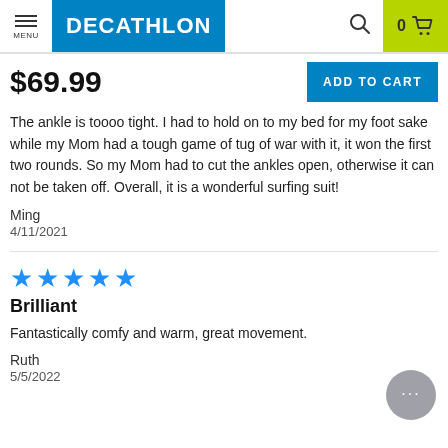DECATHLON header with menu, logo, search, and cart
$69.99
ADD TO CART
The ankle is toooo tight. I had to hold on to my bed for my foot sake while my Mom had a tough game of tug of war with it, it won the first two rounds. So my Mom had to cut the ankles open, otherwise it can not be taken off. Overall, it is a wonderful surfing suit!
Ming
4/11/2021
[Figure (other): 5 blue stars rating]
Brilliant
Fantastically comfy and warm, great movement.
Ruth
5/5/2022